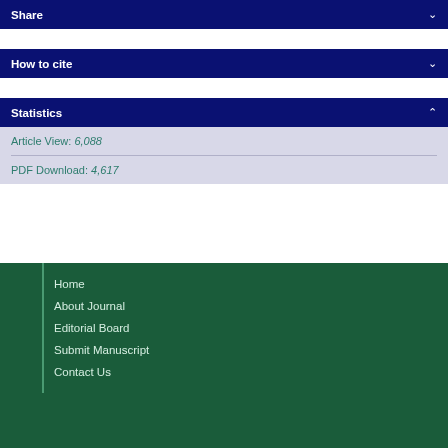Share
How to cite
Statistics
Article View: 6,088
PDF Download: 4,617
Home
About Journal
Editorial Board
Submit Manuscript
Contact Us